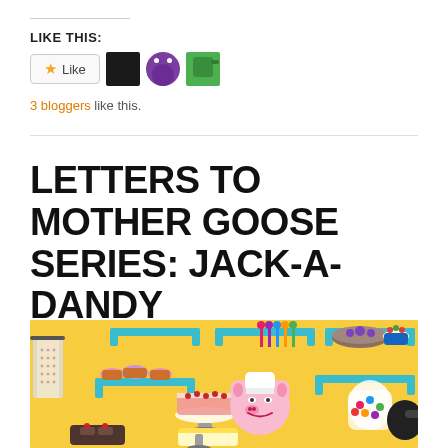LIKE THIS:
[Figure (other): Like button with star icon and three blogger avatar thumbnails (dark, purple character, green watering can character)]
3 bloggers like this.
LETTERS TO MOTHER GOOSE SERIES: JACK-A-DANDY
[Figure (illustration): Colorful children's book illustration on yellow background showing a cartoon pig chef with a white chef's hat surrounded by baked goods, cupcakes, cakes, pies, candy jars, and shelves with teal/turquoise brackets]